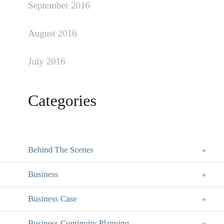September 2016
August 2016
July 2016
Categories
Behind The Scenes »
Business »
Business Case »
Business Continuity Planning »
Business Development »